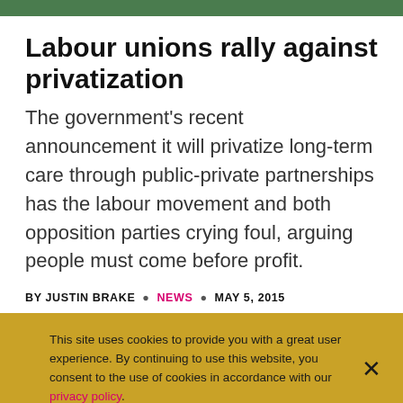Labour unions rally against privatization
The government's recent announcement it will privatize long-term care through public-private partnerships has the labour movement and both opposition parties crying foul, arguing people must come before profit.
BY JUSTIN BRAKE • NEWS • MAY 5, 2015
This site uses cookies to provide you with a great user experience. By continuing to use this website, you consent to the use of cookies in accordance with our privacy policy.